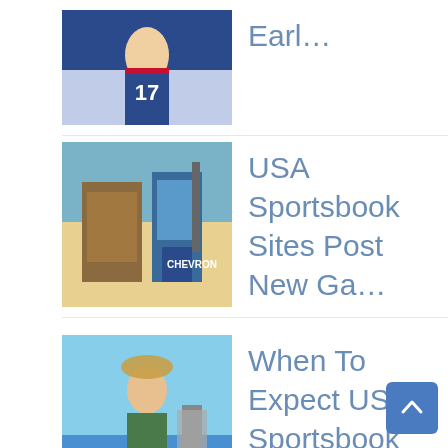Earl…
USA Sportsbook Sites Post New Ga…
When To Expect USA Sportsbook Si…
Johnny Depp Verdict Odds Hit Top…